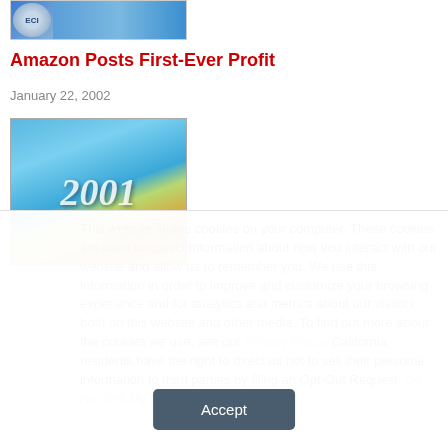[Figure (photo): ECI logo banner image with blue background]
Amazon Posts First-Ever Profit
January 22, 2002
[Figure (photo): Article image showing '2001' text with money/plant on blue and golden background]
This website stores cookies on your computer. These cookies are used to collect information about how you interact with our website and allow us to remember you. We use this information in order to improve and customize your browsing experience and for analytics and metrics about our visitors both on this website and other media. To find out more about the cookies we use, see our Privacy Policy. California residents have the right to direct us not to sell their personal information to third parties by filing an Opt-Out Request: Do Not Sell My Personal Info.